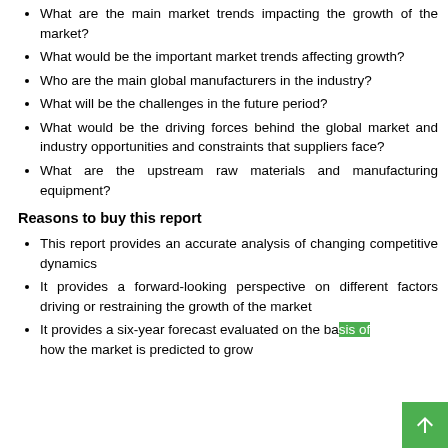What are the main market trends impacting the growth of the market?
What would be the important market trends affecting growth?
Who are the main global manufacturers in the industry?
What will be the challenges in the future period?
What would be the driving forces behind the global market and industry opportunities and constraints that suppliers face?
What are the upstream raw materials and manufacturing equipment?
Reasons to buy this report
This report provides an accurate analysis of changing competitive dynamics
It provides a forward-looking perspective on different factors driving or restraining the growth of the market
It provides a six-year forecast evaluated on the basis of how the market is predicted to grow